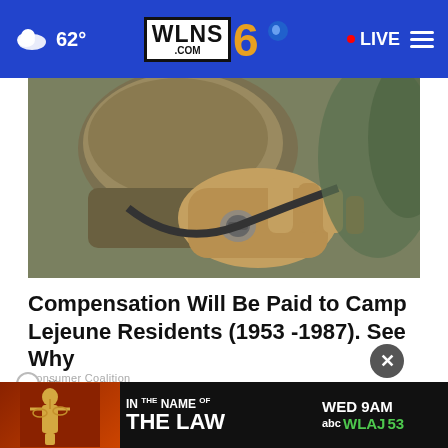62° WLNS.COM 6 • LIVE
[Figure (photo): Close-up photo of a soldier adjusting military helmet chin strap, showing gloved hands and helmet details]
Compensation Will Be Paid to Camp Lejeune Residents (1953 -1987). See Why
Consumer Coalition
WHAT DO YOU THINK?
Do you consider the coronavirus pandemic to be over?
[Figure (screenshot): Advertisement banner for 'In The Name Of The Law' airing WED 9AM on WLAJ 53 ABC]